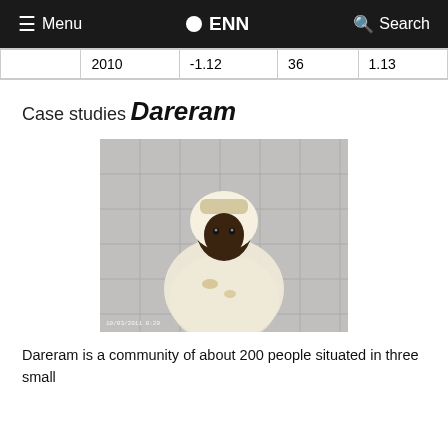Menu  ENN  Search
|  | 2010 | -1.12 | 36 | 1.13 |
Case studies
Dareram
[Figure (photo): A woman wearing a white headscarf and white garment seated in a tiled room, holding documents. Timestamp visible at bottom left: 10/03/2011 8:29]
Dareram is a community of about 200 people situated in three small